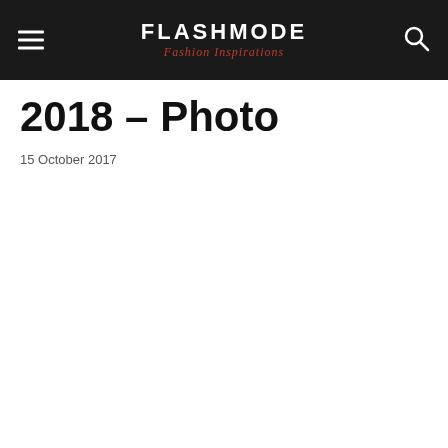FLASHMODE — Fashion Inspirations
2018 – Photo
15 October 2017